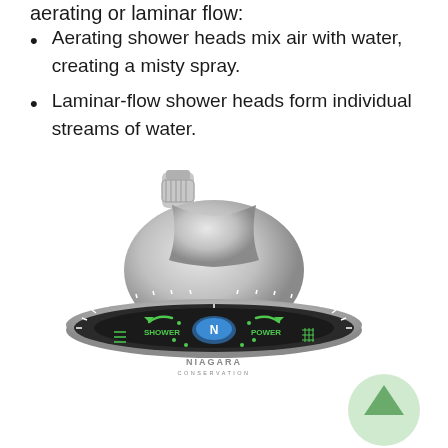aerating or laminar flow:
Aerating shower heads mix air with water, creating a misty spray.
Laminar-flow shower heads form individual streams of water.
[Figure (photo): A Niagara Conservation shower head photographed from the front, showing a brushed nickel/silver finish with a circular face displaying green labels for SHOWER and POWER modes, a blue Niagara logo in the center, and decorative green arrows. A translucent green circle with an upward arrow appears at the bottom right.]